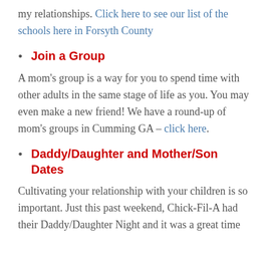my relationships. Click here to see our list of the schools here in Forsyth County
Join a Group
A mom's group is a way for you to spend time with other adults in the same stage of life as you. You may even make a new friend! We have a round-up of mom's groups in Cumming GA – click here.
Daddy/Daughter and Mother/Son Dates
Cultivating your relationship with your children is so important. Just this past weekend, Chick-Fil-A had their Daddy/Daughter Night and it was a great time